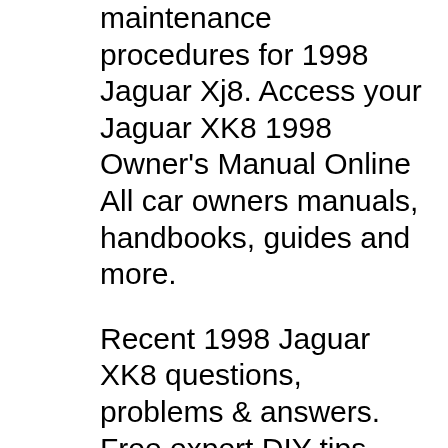maintenance procedures for 1998 Jaguar Xj8. Access your Jaguar XK8 1998 Owner's Manual Online All car owners manuals, handbooks, guides and more.
Recent 1998 Jaguar XK8 questions, problems & answers. Free expert DIY tips, support, troubleshooting help & repair advice for all XK8 Cars & Trucks. Recent 1998 Jaguar XK8 questions, problems & answers. Free expert DIY tips, support, troubleshooting help & repair advice for all XK8 Cars & Trucks.
1998 Jaguar XK8 Repair & Maintenance Costs A guide to repairs, service, and maintenance costs for your 1998 Jaguar